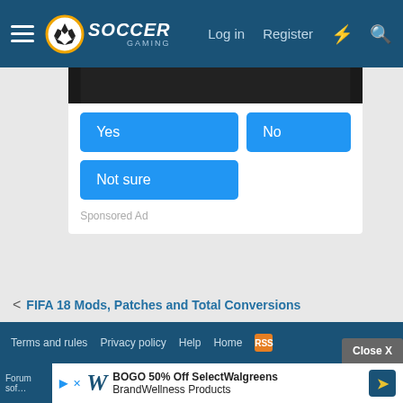Soccer Gaming — Log in  Register
[Figure (screenshot): Dark image banner at top of poll card showing partial soccer imagery]
Yes
No
Not sure
Sponsored Ad
< FIFA 18 Mods, Patches and Total Conversions
Terms and rules   Privacy policy   Help   Home  [RSS]  Close X
Forum so... BOGO 50% Off SelectWalgreens BrandWellness Products